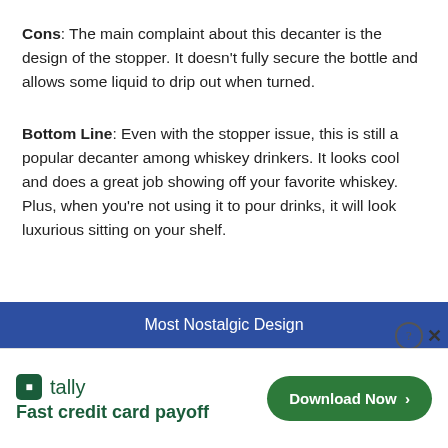Cons: The main complaint about this decanter is the design of the stopper. It doesn't fully secure the bottle and allows some liquid to drip out when turned.
Bottom Line: Even with the stopper issue, this is still a popular decanter among whiskey drinkers. It looks cool and does a great job showing off your favorite whiskey. Plus, when you're not using it to pour drinks, it will look luxurious sitting on your shelf.
Most Nostalgic Design
[Figure (other): Advertisement banner for Tally app — Fast credit card payoff — with a Download Now button]